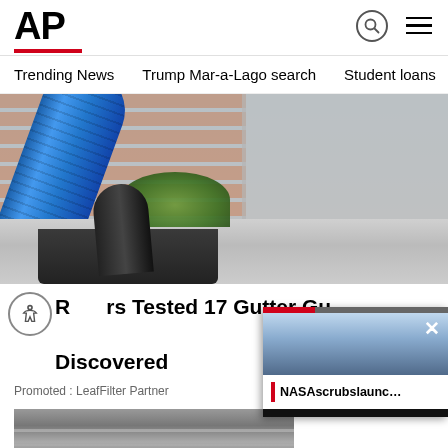AP
Trending News
Trump Mar-a-Lago search
Student loans
U.S.
[Figure (photo): A blue vacuum hose being used to clean out a clogged gutter filled with plants and debris, with brick wall and stone wall in background]
Readers Tested 17 Gutter Guards. Here's What They Discovered
Promoted : LeafFilter Partner
[Figure (screenshot): Video popup overlay showing NASA scrubs launch news with sunset sky background]
[Figure (photo): Partial second article image at bottom of page]